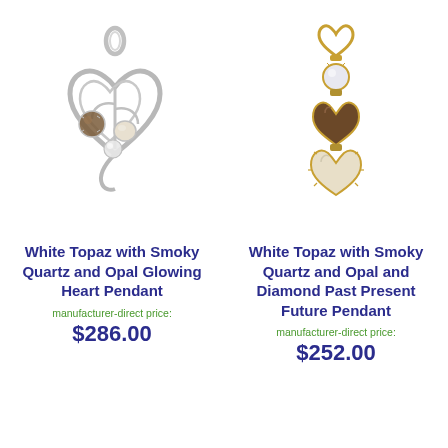[Figure (photo): Silver heart-shaped pendant with smoky quartz, opal, and white topaz stones]
White Topaz with Smoky Quartz and Opal Glowing Heart Pendant
manufacturer-direct price:
$286.00
[Figure (photo): Gold triple-heart drop pendant with white topaz, smoky quartz, opal, and diamond stones]
White Topaz with Smoky Quartz and Opal and Diamond Past Present Future Pendant
manufacturer-direct price:
$252.00